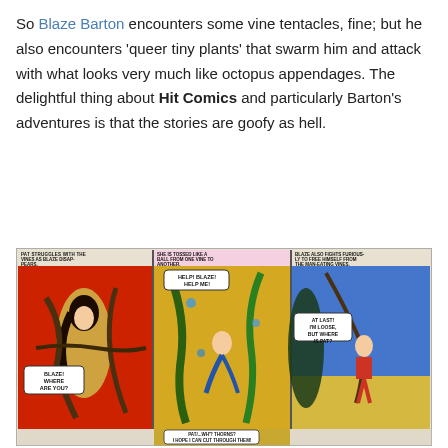So Blaze Barton encounters some vine tentacles, fine; but he also encounters 'queer tiny plants' that swarm him and attack with what looks very much like octopus appendages. The delightful thing about Hit Comics and particularly Barton's adventures is that the stories are goofy as hell.
[Figure (illustration): A three-panel vintage comic strip showing characters entangled in man-eating vines. Panel 1 (red background): A woman in a yellow dress struggles with vines, with speech bubble 'BLAZE! WHERE ARE YOU?' and caption 'PAT STRUGGLES WITH THE VINES AS BLAZE DISAPPEARS.' Panel 2 (yellow/green background): A figure is tossed by vines with speech bubble 'HELP! BLAZE! HELP ME!' and caption 'SHE IS TOSSED LIKE A BALL FROM ONE VINE TO ANOTHER.' Panel 3 (blue/yellow background): A man in red fights vines with speech bubble 'AT LAST! I'M LOOSE, BUT WHERE IS PAT?' and caption 'BLAZE ALSO FIGHTS FURIOUSLY TO FREE HIMSELF FROM THE MAN-EATING VINES.' Below the three panels, a partial lower row shows a figure with speech bubble 'PAT/...WH'? THORNS? I HOPE I CAN CUT THROUGH THEM!']